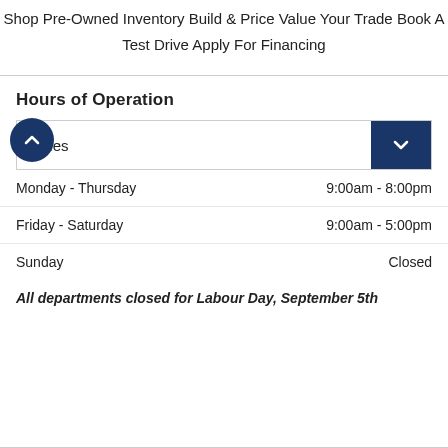Shop Pre-Owned Inventory
Build & Price
Value Your Trade
Book A Test Drive
Apply For Financing
Hours of Operation
Sales
Monday - Thursday	9:00am - 8:00pm
Friday - Saturday	9:00am - 5:00pm
Sunday	Closed
All departments closed for Labour Day, September 5th